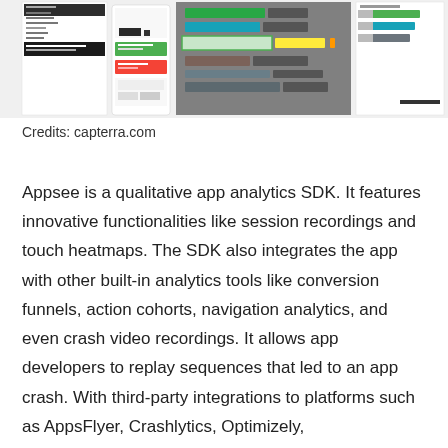[Figure (screenshot): Screenshots of Appsee app analytics SDK interface showing session recordings, touch heatmaps, conversion funnels and navigation analytics panels]
Credits: capterra.com
Appsee is a qualitative app analytics SDK. It features innovative functionalities like session recordings and touch heatmaps. The SDK also integrates the app with other built-in analytics tools like conversion funnels, action cohorts, navigation analytics, and even crash video recordings. It allows app developers to replay sequences that led to an app crash. With third-party integrations to platforms such as AppsFlyer, Crashlytics, Optimizely,